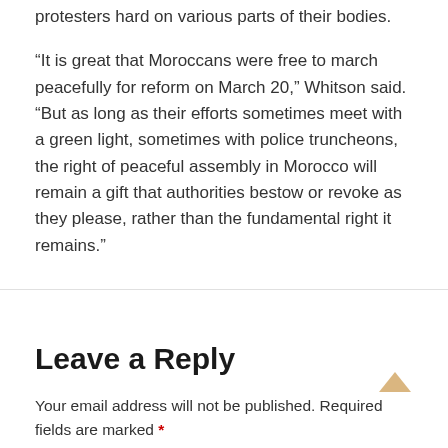protesters hard on various parts of their bodies.
“It is great that Moroccans were free to march peacefully for reform on March 20,” Whitson said. “But as long as their efforts sometimes meet with a green light, sometimes with police truncheons, the right of peaceful assembly in Morocco will remain a gift that authorities bestow or revoke as they please, rather than the fundamental right it remains.”
Leave a Reply
Your email address will not be published. Required fields are marked *